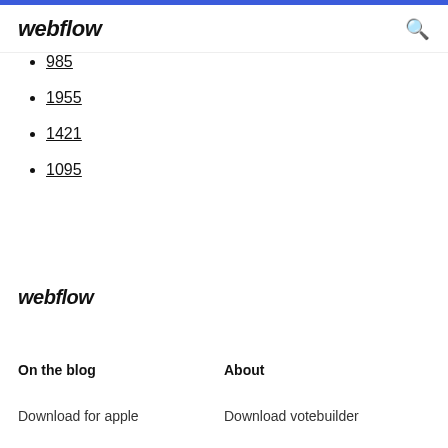webflow
985
1955
1421
1095
webflow
On the blog
About
Download for apple
Download votebuilder